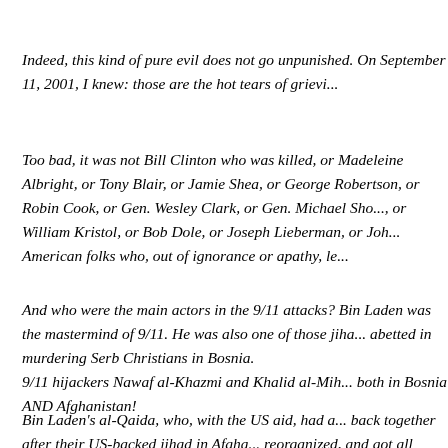Indeed, this kind of pure evil does not go unpunished. On September 11, 2001, I knew: those are the hot tears of grieving...
Too bad, it was not Bill Clinton who was killed, or Madeleine Albright, or Tony Blair, or Jamie Shea, or George Robertson, or Robin Cook, or Gen. Wesley Clark, or Gen. Michael Short, or William Kristol, or Bob Dole, or Joseph Lieberman, or John McCain, or other American folks who, out of ignorance or apathy, le...
And who were the main actors in the 9/11 attacks? Bin Laden was the mastermind of 9/11. He was also one of those jihadists whom US abetted in murdering Serb Christians in Bosnia.
9/11 hijackers Nawaf al-Khazmi and Khalid al-Mihdar had fought both in Bosnia AND Afghanistan!
Bin Laden's al-Qaida, who, with the US aid, had already come back together after their US-backed jihad in Afghanistan, reorganized, and got all fired-up for the Global Jih...